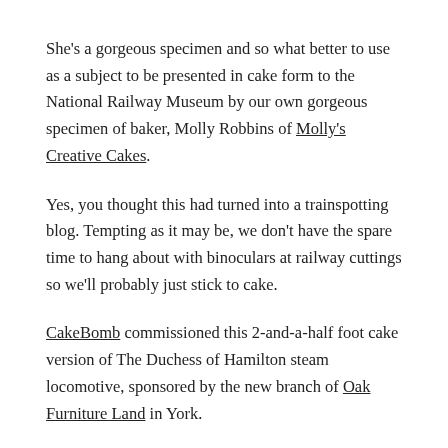She's a gorgeous specimen and so what better to use as a subject to be presented in cake form to the National Railway Museum by our own gorgeous specimen of baker, Molly Robbins of Molly's Creative Cakes.
Yes, you thought this had turned into a trainspotting blog. Tempting as it may be, we don't have the spare time to hang about with binoculars at railway cuttings so we'll probably just stick to cake.
CakeBomb commissioned this 2-and-a-half foot cake version of The Duchess of Hamilton steam locomotive, sponsored by the new branch of Oak Furniture Land in York.
The cake is an incredible piece of work. What makes it adorable for me are all the details – the trainspotters' paraphernalia: Smith's crisps, pork pie, ...